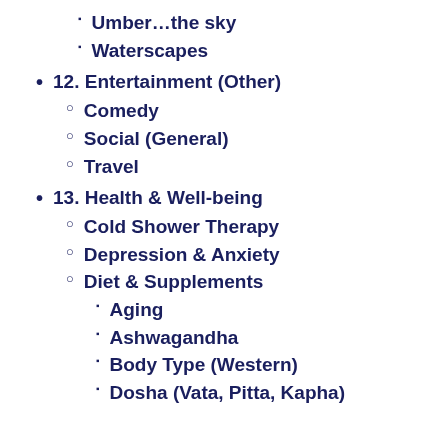Umber…the sky
Waterscapes
12. Entertainment (Other)
Comedy
Social (General)
Travel
13. Health & Well-being
Cold Shower Therapy
Depression & Anxiety
Diet & Supplements
Aging
Ashwagandha
Body Type (Western)
Dosha (Vata, Pitta, Kapha)